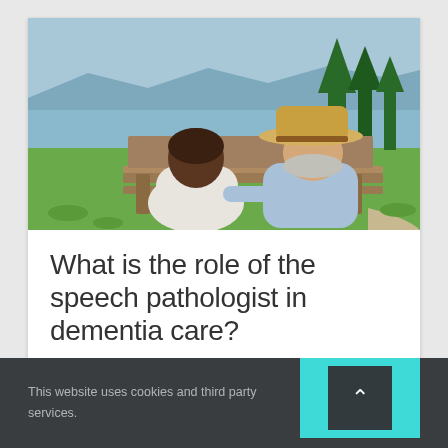[Figure (photo): Two elderly people sitting on a wooden bench outdoors, viewed from behind, with a lake and evergreen trees in the background. One person wears a straw hat.]
What is the role of the speech pathologist in dementia care?
August 18th, 2016
This website uses cookies and third party services.